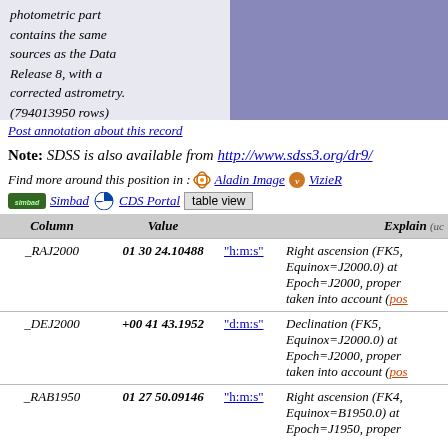photometric part contains the same sources as the Data Release 8, with a corrected astrometry. (794013950 rows)
Post annotation about this record
Note: SDSS is also available from http://www.sdss3.org/dr9/
Find more around this position in : Aladin Image  VizieR  Simbad  CDS Portal  table view
| Column | Value |  | Explain (uc...) |
| --- | --- | --- | --- |
| _RAJ2000 | 01 30 24.10488 | "h:m:s" | Right ascension (FK5, Equinox=J2000.0) at Epoch=J2000, proper taken into account (pos...) |
| _DEJ2000 | +00 41 43.1952 | "d:m:s" | Declination (FK5, Equinox=J2000.0) at Epoch=J2000, proper taken into account (pos...) |
| _RAB1950 | 01 27 50.09146 | "h:m:s" | Right ascension (FK4, Equinox=B1950.0) at Epoch=J1950, proper... |